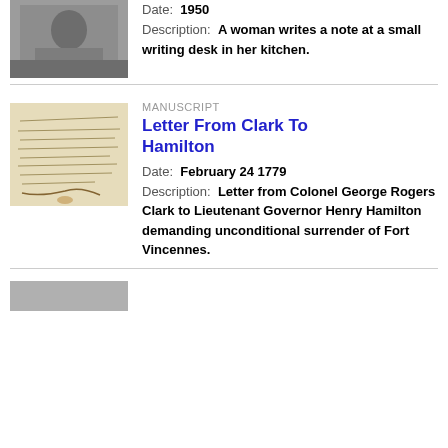[Figure (photo): Black and white photo of a woman writing a note at a small writing desk]
Date: 1950
Description: A woman writes a note at a small writing desk in her kitchen.
[Figure (photo): Image of a handwritten manuscript letter]
MANUSCRIPT
Letter From Clark To Hamilton
Date: February 24 1779
Description: Letter from Colonel George Rogers Clark to Lieutenant Governor Henry Hamilton demanding unconditional surrender of Fort Vincennes.
[Figure (photo): Partial thumbnail of another item at bottom]